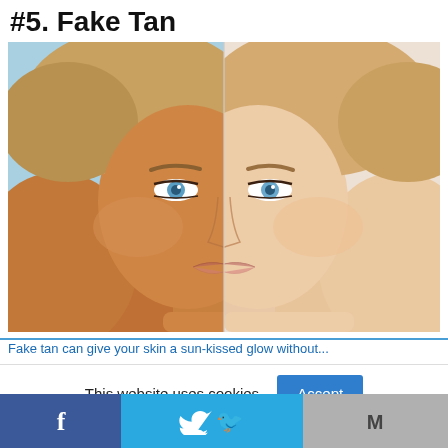#5. Fake Tan
[Figure (photo): Split-face comparison photo of a woman showing tanned skin on the left half and natural/lighter skin on the right half, with blue eyes, blonde hair pulled back, resting chin on hands against a light blue background]
This website uses cookies.
Accept